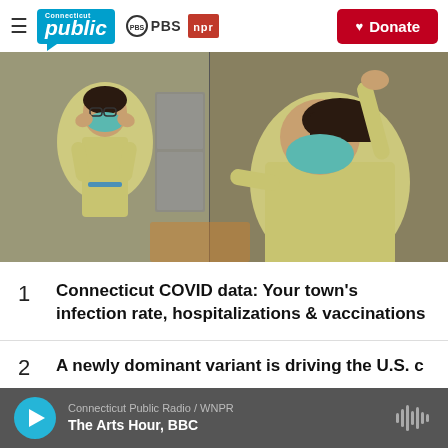Connecticut Public | PBS | NPR | Donate
[Figure (photo): Two healthcare workers in yellow PPE gowns and teal N95 masks putting on protective equipment]
1  Connecticut COVID data: Your town's infection rate, hospitalizations & vaccinations
Connecticut Public Radio / WNPR  The Arts Hour, BBC